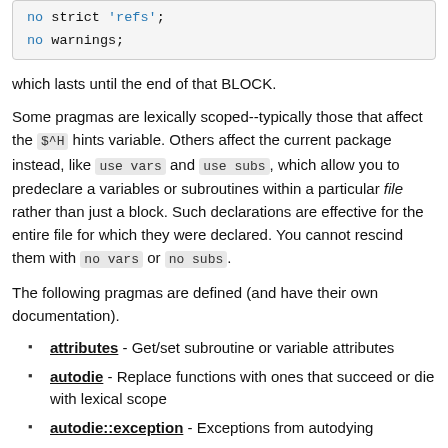[Figure (screenshot): Code block showing: no strict 'refs'; / no warnings;]
which lasts until the end of that BLOCK.
Some pragmas are lexically scoped--typically those that affect the $^H hints variable. Others affect the current package instead, like use vars and use subs, which allow you to predeclare a variables or subroutines within a particular file rather than just a block. Such declarations are effective for the entire file for which they were declared. You cannot rescind them with no vars or no subs.
The following pragmas are defined (and have their own documentation).
attributes - Get/set subroutine or variable attributes
autodie - Replace functions with ones that succeed or die with lexical scope
autodie::exception - Exceptions from autodying